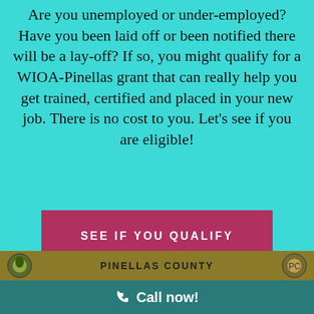Are you unemployed or under-employed? Have you been laid off or been notified there will be a lay-off? If so, you might qualify for a WIOA-Pinellas grant that can really help you get trained, certified and placed in your new job. There is no cost to you. Let’s see if you are eligible!
[Figure (other): Dark pink/crimson button labeled SEE IF YOU QUALIFY in white uppercase letters]
[Figure (other): Olive/gold bar at bottom with Pinellas County logos on each side and PINELLAS COUNTY text in center]
Call now!